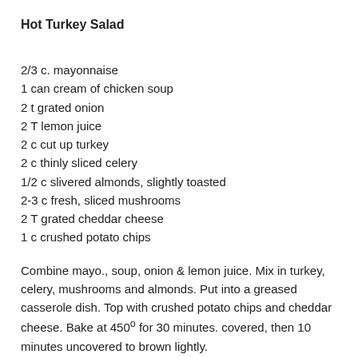Hot Turkey Salad
2/3 c. mayonnaise
1 can cream of chicken soup
2 t grated onion
2 T lemon juice
2 c cut up turkey
2 c thinly sliced celery
1/2 c slivered almonds, slightly toasted
2-3 c fresh, sliced mushrooms
2 T grated cheddar cheese
1 c crushed potato chips
Combine mayo., soup, onion & lemon juice. Mix in turkey, celery, mushrooms and almonds. Put into a greased casserole dish. Top with crushed potato chips and cheddar cheese. Bake at 450º for 30 minutes. covered, then 10 minutes uncovered to brown lightly.